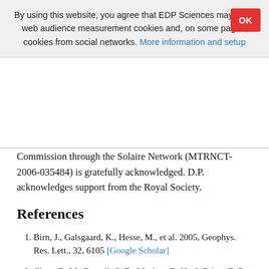By using this website, you agree that EDP Sciences may store web audience measurement cookies and, on some pages, cookies from social networks. More information and setup
Commission through the Solaire Network (MTRNCT-2006-035484) is gratefully acknowledged. D.P. acknowledges support from the Royal Society.
References
Birn, J., Galsgaard, K., Hesse, M., et al. 2005, Geophys. Res. Lett., 32, 6105 [Google Scholar]
Close, R. M., Parnell, C. E., Mackay, D. H., & Priest, E. R. 2003, Sol. Phys., 212, 251 [Google Scholar]
Craig, I. J. D., & Fabling, R. B. 1998, Physics of Plasmas, 5, 635 [Google Scholar]
Craig, I. J. D., Fabling, R. B., Henton, S. M., & Rickard, G.